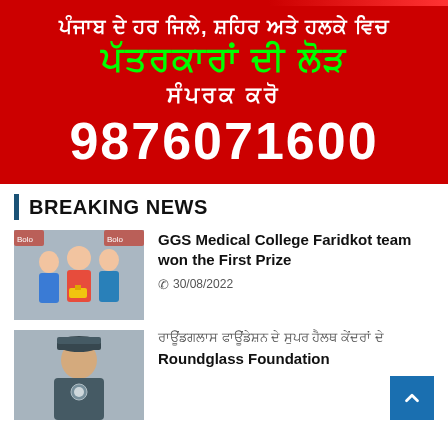[Figure (infographic): Red advertisement banner in Punjabi script with green and white text, phone number 9876071600]
BREAKING NEWS
[Figure (photo): Photo of GGS Medical College Faridkot team members]
GGS Medical College Faridkot team won the First Prize
30/08/2022
[Figure (photo): Photo of a person in uniform related to Roundglass Foundation news]
Roundglass Foundation